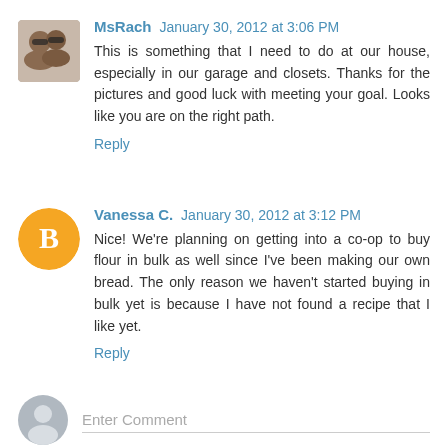[Figure (photo): Small avatar photo of two people wearing sunglasses]
MsRach January 30, 2012 at 3:06 PM
This is something that I need to do at our house, especially in our garage and closets. Thanks for the pictures and good luck with meeting your goal. Looks like you are on the right path.
Reply
[Figure (logo): Orange circle with white Blogger 'B' logo icon]
Vanessa C. January 30, 2012 at 3:12 PM
Nice! We're planning on getting into a co-op to buy flour in bulk as well since I've been making our own bread. The only reason we haven't started buying in bulk yet is because I have not found a recipe that I like yet.
Reply
[Figure (illustration): Gray circle with default user silhouette icon]
Enter Comment